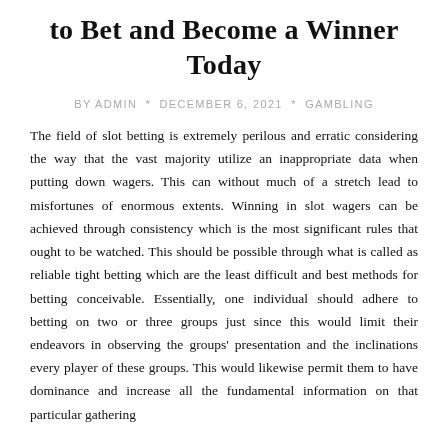to Bet and Become a Winner Today
BY ADMIN * DECEMBER 6, 2021 * GAMBLING
The field of slot betting is extremely perilous and erratic considering the way that the vast majority utilize an inappropriate data when putting down wagers. This can without much of a stretch lead to misfortunes of enormous extents. Winning in slot wagers can be achieved through consistency which is the most significant rules that ought to be watched. This should be possible through what is called as reliable tight betting which are the least difficult and best methods for betting conceivable. Essentially, one individual should adhere to betting on two or three groups just since this would limit their endeavors in observing the groups' presentation and the inclinations every player of these groups. This would likewise permit them to have dominance and increase all the fundamental information on that particular gathering